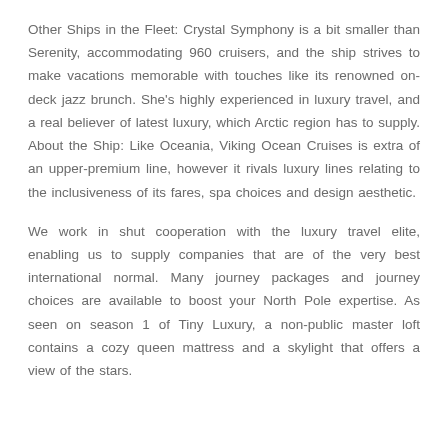Other Ships in the Fleet: Crystal Symphony is a bit smaller than Serenity, accommodating 960 cruisers, and the ship strives to make vacations memorable with touches like its renowned on-deck jazz brunch. She's highly experienced in luxury travel, and a real believer of latest luxury, which Arctic region has to supply. About the Ship: Like Oceania, Viking Ocean Cruises is extra of an upper-premium line, however it rivals luxury lines relating to the inclusiveness of its fares, spa choices and design aesthetic.
We work in shut cooperation with the luxury travel elite, enabling us to supply companies that are of the very best international normal. Many journey packages and journey choices are available to boost your North Pole expertise. As seen on season 1 of Tiny Luxury, a non-public master loft contains a cozy queen mattress and a skylight that offers a view of the stars.